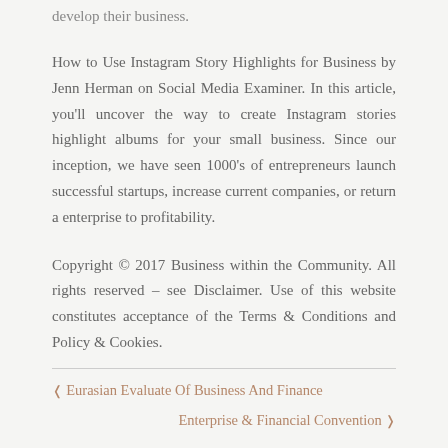develop their business.
How to Use Instagram Story Highlights for Business by Jenn Herman on Social Media Examiner. In this article, you'll uncover the way to create Instagram stories highlight albums for your small business. Since our inception, we have seen 1000's of entrepreneurs launch successful startups, increase current companies, or return a enterprise to profitability.
Copyright © 2017 Business within the Community. All rights reserved – see Disclaimer. Use of this website constitutes acceptance of the Terms & Conditions and Policy & Cookies.
‹ Eurasian Evaluate Of Business And Finance
Enterprise & Financial Convention ›